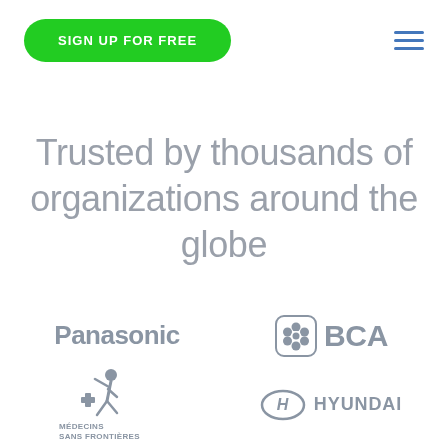SIGN UP FOR FREE
Trusted by thousands of organizations around the globe
[Figure (logo): Panasonic logo in grey]
[Figure (logo): BCA logo with flower icon in grey]
[Figure (logo): Medecins Sans Frontieres logo in grey]
[Figure (logo): Hyundai logo with H emblem in grey]